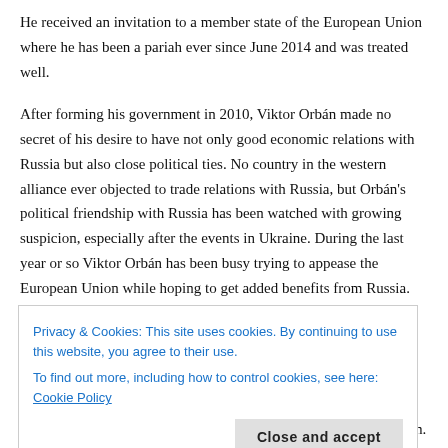He received an invitation to a member state of the European Union where he has been a pariah ever since June 2014 and was treated well.
After forming his government in 2010, Viktor Orbán made no secret of his desire to have not only good economic relations with Russia but also close political ties. No country in the western alliance ever objected to trade relations with Russia, but Orbán's political friendship with Russia has been watched with growing suspicion, especially after the events in Ukraine. During the last year or so Viktor Orbán has been busy trying to appease the European Union while hoping to get added benefits from Russia.
To his domestic critics Orbán's performance yesterday was
Privacy & Cookies: This site uses cookies. By continuing to use this website, you agree to their use.
To find out more, including how to control cookies, see here: Cookie Policy
Close and accept
Putin's visit to the cemetery has been drawing very strong criticism.